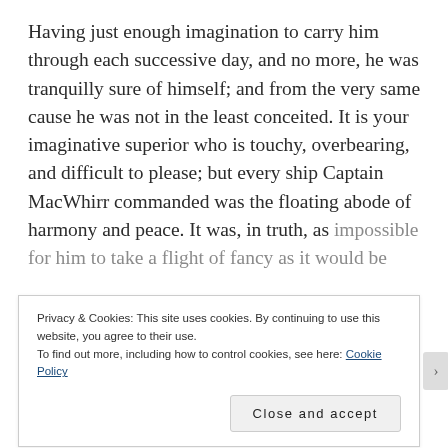Having just enough imagination to carry him through each successive day, and no more, he was tranquilly sure of himself; and from the very same cause he was not in the least conceited. It is your imaginative superior who is touchy, overbearing, and difficult to please; but every ship Captain MacWhirr commanded was the floating abode of harmony and peace. It was, in truth, as impossible for him to take a flight of fancy as it would be
Privacy & Cookies: This site uses cookies. By continuing to use this website, you agree to their use.
To find out more, including how to control cookies, see here: Cookie Policy
Close and accept